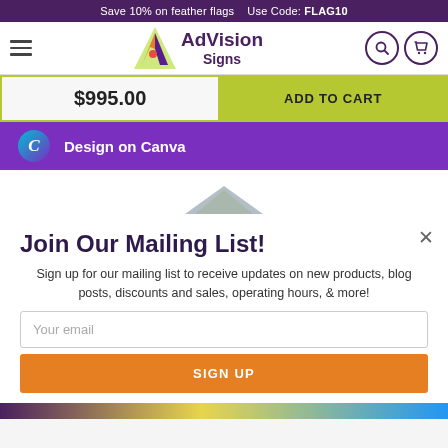Save 10% on feather flags   Use Code: FLAG10
[Figure (logo): AdVision Signs logo with colorful A icon]
$995.00
ADD TO CART
Design on Canva
Join Our Mailing List!
Sign up for our mailing list to receive updates on new products, blog posts, discounts and sales, operating hours, & more!
Your email
SIGN UP